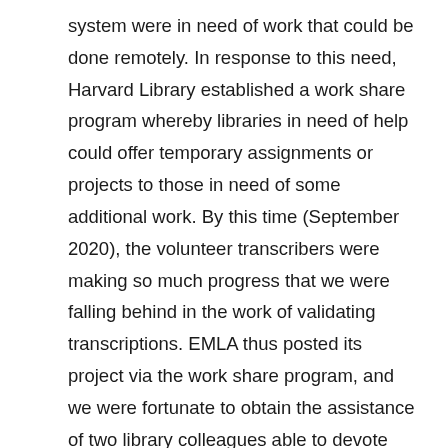system were in need of work that could be done remotely. In response to this need, Harvard Library established a work share program whereby libraries in need of help could offer temporary assignments or projects to those in need of some additional work. By this time (September 2020), the volunteer transcribers were making so much progress that we were falling behind in the work of validating transcriptions. EMLA thus posted its project via the work share program, and we were fortunate to obtain the assistance of two library colleagues able to devote several hours each week to the work of transcription and validation.